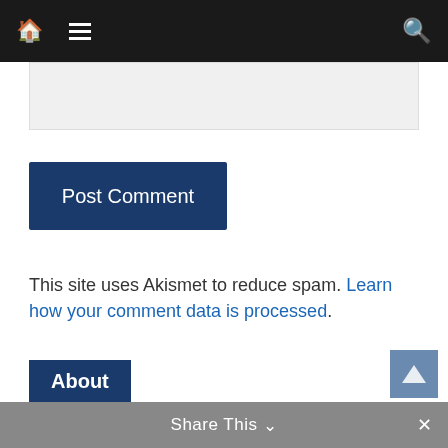Navigation bar with home, menu, and search icons
[Figure (screenshot): Light gray input/comment text area box]
Post Comment
This site uses Akismet to reduce spam. Learn how your comment data is processed.
About
The Diplomatic Envoy is the undergraduate foreign affairs news organ of the School of Diplomacy and International Relations at Seton Hall University.
Share This ∨  ×